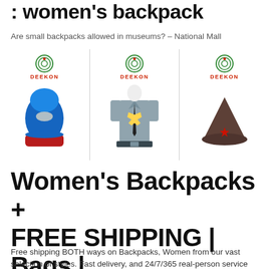: women's backpack
Are small backpacks allowed in museums? – National Mall
[Figure (photo): Three product images from Deekon: a blue balaclava ski mask with red trim, a police officer uniform shirt with accessories, and an olive military garrison cap with red star badge.]
Women's Backpacks + FREE SHIPPING | Bags | Zappos.com
Free shipping BOTH ways on Backpacks, Women from our vast selection of styles. Fast delivery, and 24/7/365 real-person service with a smile. Click or call 800-927-7671